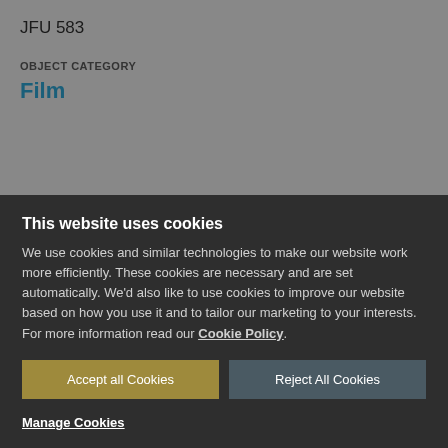JFU 583
OBJECT CATEGORY
Film
This website uses cookies
We use cookies and similar technologies to make our website work more efficiently. These cookies are necessary and are set automatically. We'd also like to use cookies to improve our website based on how you use it and to tailor our marketing to your interests. For more information read our Cookie Policy.
Accept all Cookies
Reject All Cookies
Manage Cookies